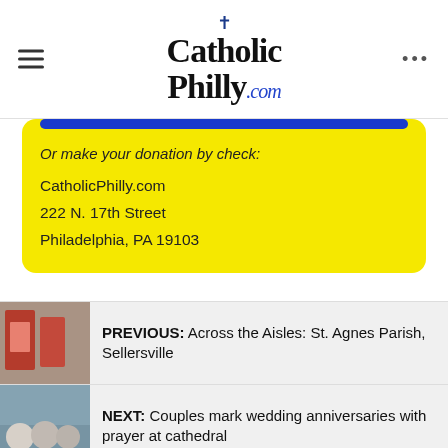Catholic Philly.com
Or make your donation by check:
CatholicPhilly.com
222 N. 17th Street
Philadelphia, PA 19103
PREVIOUS: Across the Aisles: St. Agnes Parish, Sellersville
NEXT: Couples mark wedding anniversaries with prayer at cathedral